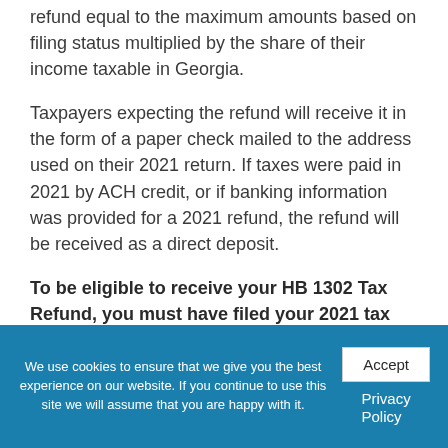refund equal to the maximum amounts based on filing status multiplied by the share of their income taxable in Georgia.
Taxpayers expecting the refund will receive it in the form of a paper check mailed to the address used on their 2021 return. If taxes were paid in 2021 by ACH credit, or if banking information was provided for a 2021 refund, the refund will be received as a direct deposit.
To be eligible to receive your HB 1302 Tax Refund, you must have filed your 2021 tax
We use cookies to ensure that we give you the best experience on our website. If you continue to use this site we will assume that you are happy with it.
Accept
Privacy Policy